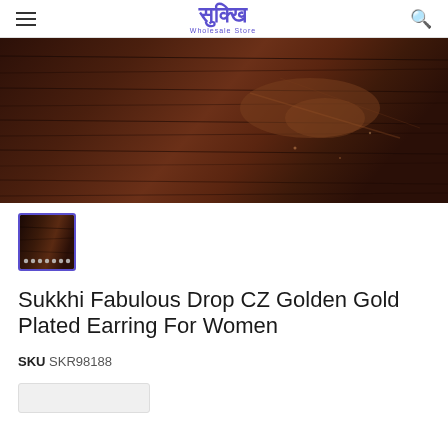Sukkhi Wholesale Store
[Figure (photo): Close-up photo of dark brown wooden textured surface with grain lines and some light scratches/marks]
[Figure (photo): Thumbnail of the same dark wooden surface product image, small earring details visible at the bottom]
Sukkhi Fabulous Drop CZ Golden Gold Plated Earring For Women
SKU SKR98188